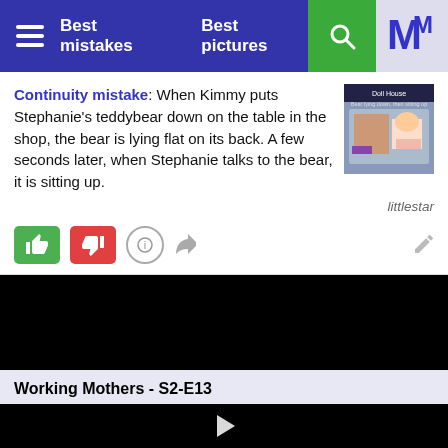Best mistakes   Best pictures
Continuity mistake: When Kimmy puts Stephanie's teddybear down on the table in the shop, the bear is lying flat on its back. A few seconds later, when Stephanie talks to the bear, it is sitting up.
[Figure (screenshot): Small thumbnail screenshot from the show, showing a girl with blonde hair in a shop setting. Caption reads 'Doll House / Bear lying down, then sitting up'.]
littlestar
Working Mothers - S2-E13
[Figure (screenshot): Black video player area with a play button triangle in the center.]